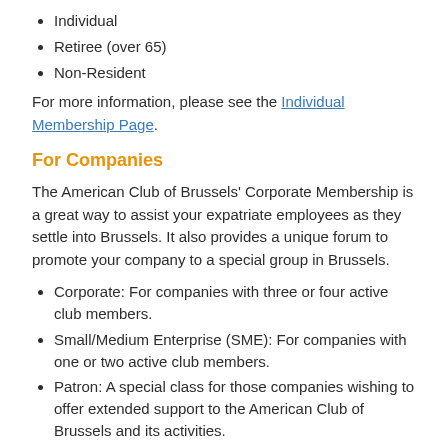Individual
Retiree (over 65)
Non-Resident
For more information, please see the Individual Membership Page.
For Companies
The American Club of Brussels' Corporate Membership is a great way to assist your expatriate employees as they settle into Brussels. It also provides a unique forum to promote your company to a special group in Brussels.
Corporate: For companies with three or four active club members.
Small/Medium Enterprise (SME): For companies with one or two active club members.
Patron: A special class for those companies wishing to offer extended support to the American Club of Brussels and its activities.